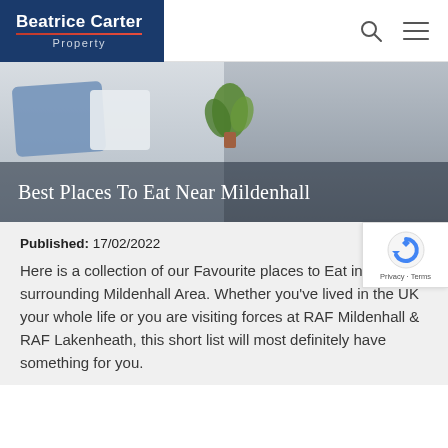Beatrice Carter Property
[Figure (photo): Hero image of a bedroom interior with blue pillow and plant, overlaid with title text 'Best Places To Eat Near Mildenhall']
Best Places To Eat Near Mildenhall
Published: 17/02/2022
Here is a collection of our Favourite places to Eat in the surrounding Mildenhall Area. Whether you've lived in the UK your whole life or you are visiting forces at RAF Mildenhall & RAF Lakenheath, this short list will most definitely have something for you.